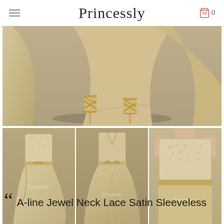Princessly
[Figure (photo): Close-up photo showing the lower half of a champagne/gold satin high-low dress with cross-strap gold heeled sandals on a model]
[Figure (photo): Three-panel photo showing front, back, and close-up detail views of an A-line jewel neck lace satin sleeveless dress in champagne gold]
A-line Jewel Neck Lace Satin Sleeveless